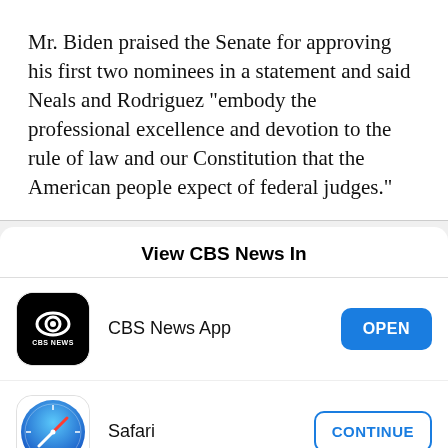Mr. Biden praised the Senate for approving his first two nominees in a statement and said Neals and Rodriguez "embody the professional excellence and devotion to the rule of law and our Constitution that the American people expect of federal judges."
View CBS News In
[Figure (logo): CBS News App icon - black background with CBS eye logo and 'CBS NEWS' text below]
CBS News App
[Figure (logo): Safari browser icon - blue gradient circle with compass needle]
Safari